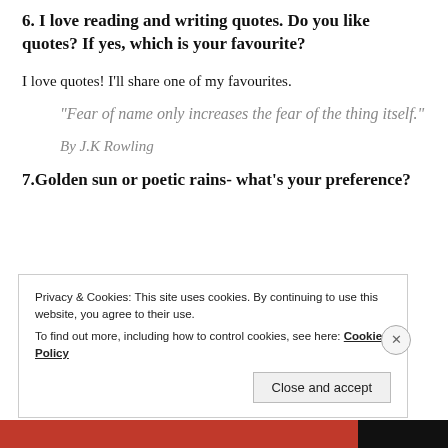6. I love reading and writing quotes. Do you like quotes? If yes, which is your favourite?
I love quotes! I'll share one of my favourites.
“Fear of name only increases the fear of the thing itself.”
By J.K Rowling
7.Golden sun or poetic rains- what’s your preference?
Privacy & Cookies: This site uses cookies. By continuing to use this website, you agree to their use.
To find out more, including how to control cookies, see here: Cookie Policy
Close and accept